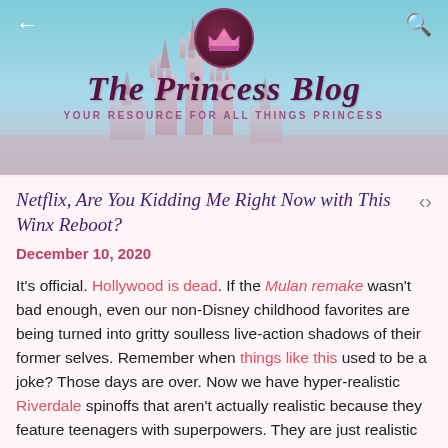[Figure (illustration): Header banner with castle silhouette background, sky gradient, crown logo circle, back arrow and search icon navigation]
The Princess Blog
YOUR RESOURCE FOR ALL THINGS PRINCESS
Netflix, Are You Kidding Me Right Now with This Winx Reboot?
December 10, 2020
It's official. Hollywood is dead. If the Mulan remake wasn't bad enough, even our non-Disney childhood favorites are being turned into gritty soulless live-action shadows of their former selves. Remember when things like this used to be a joke? Those days are over. Now we have hyper-realistic Riverdale spinoffs that aren't actually realistic because they feature teenagers with superpowers. They are just realistic enough